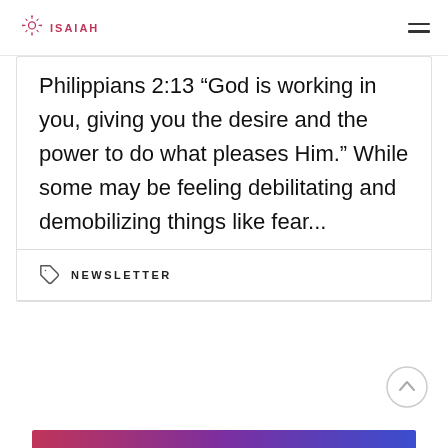ISAIAH
Philippians 2:13 “God is working in you, giving you the desire and the power to do what pleases Him.” While some may be feeling debilitating and demobilizing things like fear...
NEWSLETTER